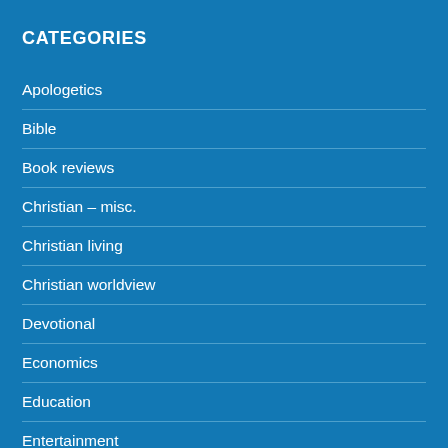CATEGORIES
Apologetics
Bible
Book reviews
Christian – misc.
Christian living
Christian worldview
Devotional
Economics
Education
Entertainment